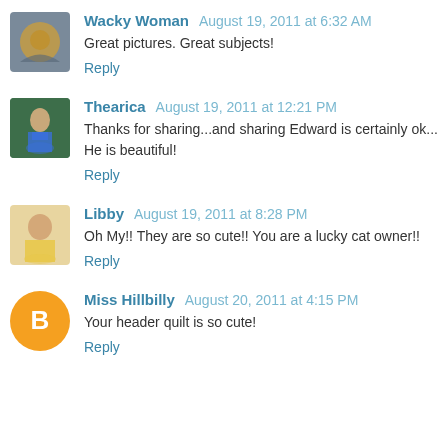Wacky Woman August 19, 2011 at 6:32 AM
Great pictures. Great subjects!
Reply
Thearica August 19, 2011 at 12:21 PM
Thanks for sharing...and sharing Edward is certainly ok... He is beautiful!
Reply
Libby August 19, 2011 at 8:28 PM
Oh My!! They are so cute!! You are a lucky cat owner!!
Reply
Miss Hillbilly August 20, 2011 at 4:15 PM
Your header quilt is so cute!
Reply